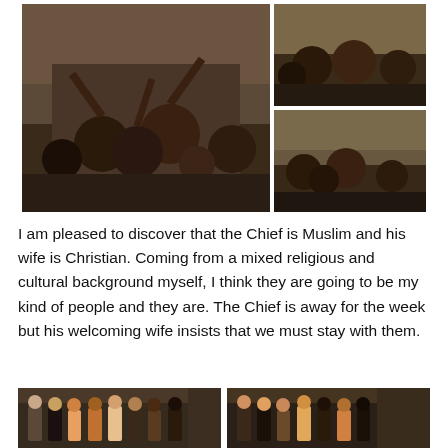[Figure (photo): Large photo on left of top row: group of African children smiling and waving at the camera, outdoor village setting]
[Figure (photo): Top-right small photo: close-up of smiling African children making gestures at camera]
[Figure (photo): Bottom-right small photo: group of African children outdoors smiling and gesturing]
I am pleased to discover that the Chief is Muslim and his wife is Christian. Coming from a mixed religious and cultural background myself, I think they are going to be my kind of people and they are. The Chief is away for the week but his welcoming wife insists that we must stay with them.
[Figure (photo): Bottom-left photo: group of people (mixed Western and African) standing together outside a brick building at night]
[Figure (photo): Bottom-right photo: another group of people standing outside a brick building at night]